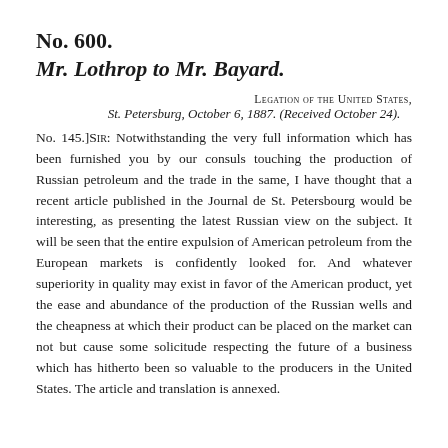No. 600.
Mr. Lothrop to Mr. Bayard.
Legation of the United States,
St. Petersburg, October 6, 1887. (Received October 24).
No. 145.]Sir: Notwithstanding the very full information which has been furnished you by our consuls touching the production of Russian petroleum and the trade in the same, I have thought that a recent article published in the Journal de St. Petersbourg would be interesting, as presenting the latest Russian view on the subject. It will be seen that the entire expulsion of American petroleum from the European markets is confidently looked for. And whatever superiority in quality may exist in favor of the American product, yet the ease and abundance of the production of the Russian wells and the cheapness at which their product can be placed on the market can not but cause some solicitude respecting the future of a business which has hitherto been so valuable to the producers in the United States. The article and translation is annexed.